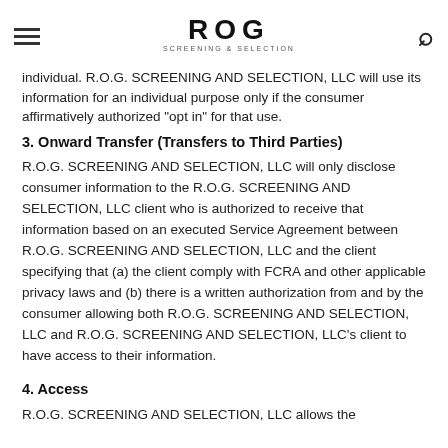ROG SCREENING & SELECTION
individual. R.O.G. SCREENING AND SELECTION, LLC will use its information for an individual purpose only if the consumer affirmatively authorized 'opt in' for that use.
3. Onward Transfer (Transfers to Third Parties)
R.O.G. SCREENING AND SELECTION, LLC will only disclose consumer information to the R.O.G. SCREENING AND SELECTION, LLC client who is authorized to receive that information based on an executed Service Agreement between R.O.G. SCREENING AND SELECTION, LLC and the client specifying that (a) the client comply with FCRA and other applicable privacy laws and (b) there is a written authorization from and by the consumer allowing both R.O.G. SCREENING AND SELECTION, LLC and R.O.G. SCREENING AND SELECTION, LLC's client to have access to their information.
4. Access
R.O.G. SCREENING AND SELECTION, LLC allows the